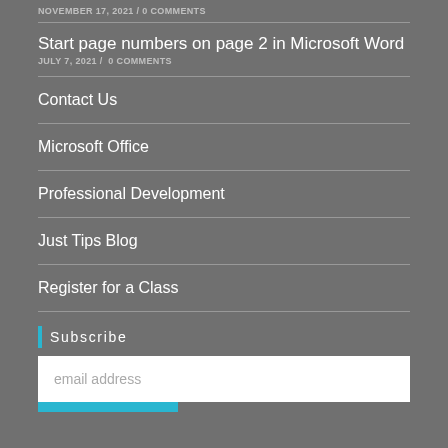NOVEMBER 17, 2021 / 0 COMMENTS
Start page numbers on page 2 in Microsoft Word
JULY 7, 2021 / 0 COMMENTS
Contact Us
Microsoft Office
Professional Development
Just Tips Blog
Register for a Class
Subscribe
email address